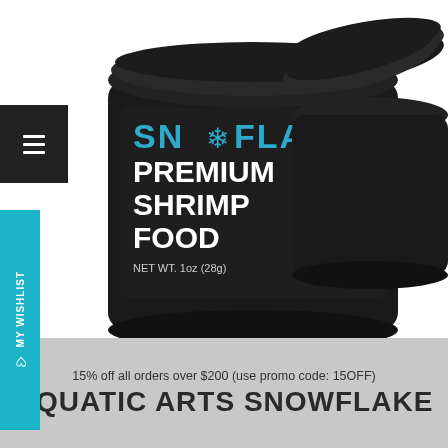[Figure (photo): Two black round jars of Snowflake Premium Shrimp Food, one upright showing label with blue snowflake text and white lettering reading 'SNOWFLAKE PREMIUM SHRIMP FOOD NET WT. 1oz (28g)', one with lid removed and tilted, photographed on white background.]
☰
♡ My Wishlist
15% off all orders over $200 (use promo code: 15OFF)
AQUATIC ARTS SNOWFLAKE PREMIUM SHRIMP FOOD